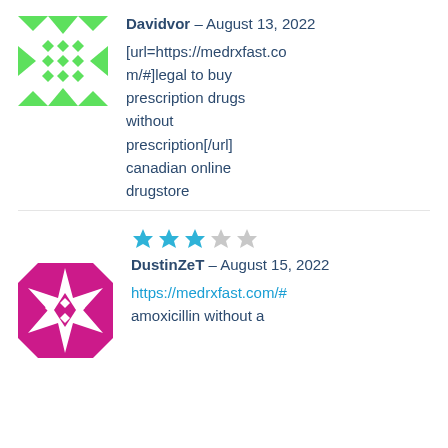[Figure (illustration): Green geometric avatar icon with diamond and arrow pattern]
Davidvor – August 13, 2022
[url=https://medrxfast.com/#]legal to buy prescription drugs without prescription[/url] canadian online drugstore
[Figure (illustration): Magenta/pink geometric avatar icon with star and diamond pattern]
DustinZeT – August 15, 2022
https://medrxfast.com/#
amoxicillin without a